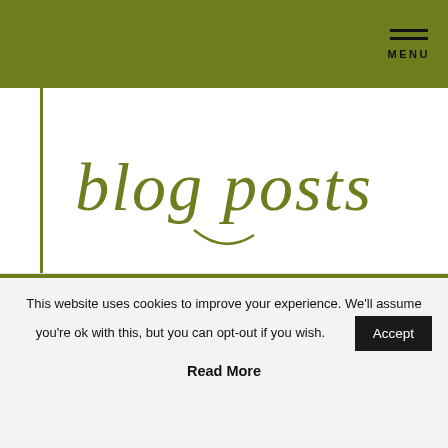MENU
[Figure (illustration): Cursive/script handwritten-style text reading 'blog posts' in olive/dark yellow-green color]
8 Tips You Need to Know When You’re Moving Out for the First Time!
Buying Your First Home? Here’s Everything You Need to Know!
This website uses cookies to improve your experience. We'll assume you're ok with this, but you can opt-out if you wish.
Accept
Read More